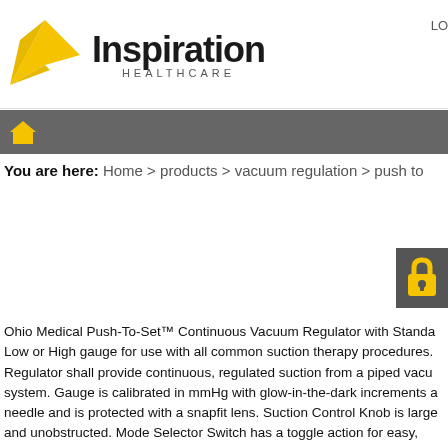[Figure (logo): Inspiration Healthcare logo with yellow star/arrow shape and company name]
LO
[Figure (other): Navigation bar with home icon on dark grey background]
You are here: Home > products > vacuum regulation > push to
[Figure (other): Lock icon on dark grey background]
Ohio Medical Push-To-Set™ Continuous Vacuum Regulator with Standa Low or High gauge for use with all common suction therapy procedures. Regulator shall provide continuous, regulated suction from a piped vacu system. Gauge is calibrated in mmHg with glow-in-the-dark increments a needle and is protected with a snapfit lens. Suction Control Knob is large and unobstructed. Mode Selector Switch has a toggle action for easy, positive selection which shows the selected mode from a distance. Compartment model for easy reference at Meta model is in